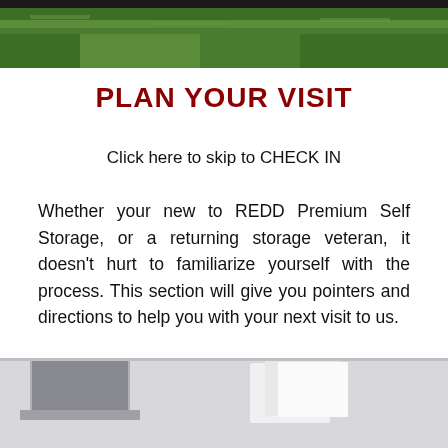[Figure (photo): Aerial or ground-level photo of green grass field at the top of the page]
PLAN YOUR VISIT
Click here to skip to CHECK IN
Whether your new to REDD Premium Self Storage, or a returning storage veteran, it doesn't hurt to familiarize yourself with the process. This section will give you pointers and directions to help you with your next visit to us.
[Figure (photo): Desk scene with laptop, papers/notes, on a light grey surface at the bottom of the page]